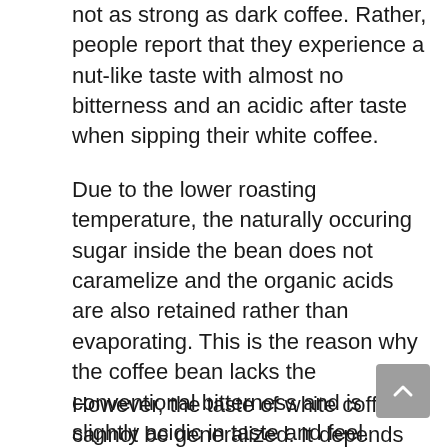not as strong as dark coffee. Rather, people report that they experience a nut-like taste with almost no bitterness and an acidic after taste when sipping their white coffee.
Due to the lower roasting temperature, the naturally occuring sugar inside the bean does not caramelize and the organic acids are also retained rather than evaporating. This is the reason why the coffee bean lacks the conventional bitterness and is slightly acidic in taste and feel.
However, the taste of white coffee cannot be generalized. It depends on a number of different factors for instance the type of the bean that is selected for roasting, the temperature as well as the duration for